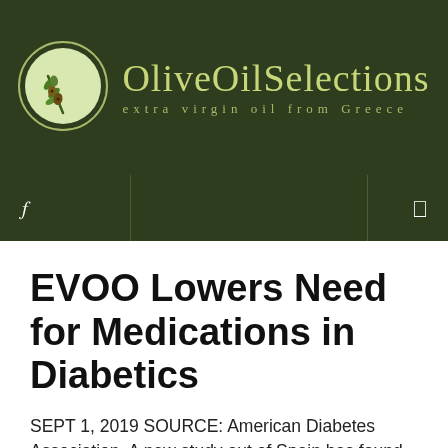[Figure (logo): OliveOilSelections logo with olive branch circle icon and text 'OliveOilSelections extra virgin oil from Greece' on dark green background]
OliveOilSelections extra virgin oil from Greece
EVOO Lowers Need for Medications in Diabetics
SEPT 1, 2019 SOURCE: American Diabetes Association  A new study out of Spain has found that diabetics following a Mediterranean dietsupplemented with extra virgin olive oil